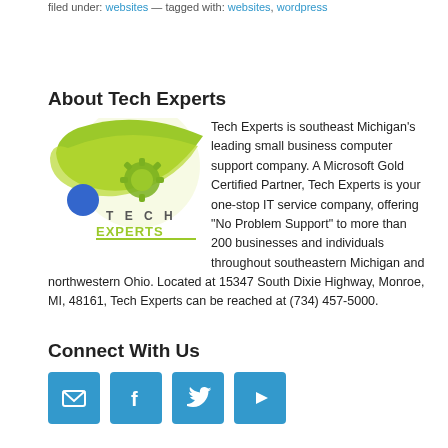filed under: websites — tagged with: websites, wordpress
About Tech Experts
[Figure (logo): Tech Experts logo: green swoosh with gear icon and blue dot, with text TECH EXPERTS]
Tech Experts is southeast Michigan's leading small business computer support company. A Microsoft Gold Certified Partner, Tech Experts is your one-stop IT service company, offering "No Problem Support" to more than 200 businesses and individuals throughout southeastern Michigan and northwestern Ohio. Located at 15347 South Dixie Highway, Monroe, MI, 48161, Tech Experts can be reached at (734) 457-5000.
Connect With Us
[Figure (infographic): Four social media icon buttons: email (envelope), Facebook (f), Twitter (bird), YouTube (play arrow), all in blue square buttons]